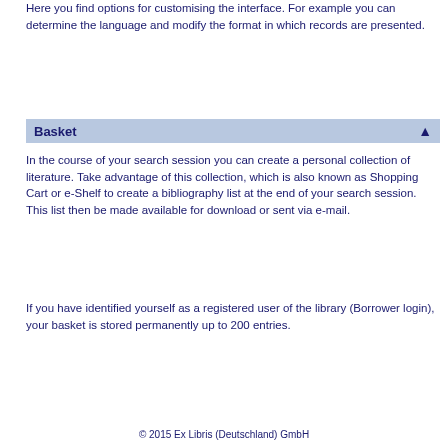Here you find options for customising the interface. For example you can determine the language and modify the format in which records are presented.
Basket
In the course of your search session you can create a personal collection of literature. Take advantage of this collection, which is also known as Shopping Cart or e-Shelf to create a bibliography list at the end of your search session. This list then be made available for download or sent via e-mail.
If you have identified yourself as a registered user of the library (Borrower login), your basket is stored permanently up to 200 entries.
© 2015 Ex Libris (Deutschland) GmbH